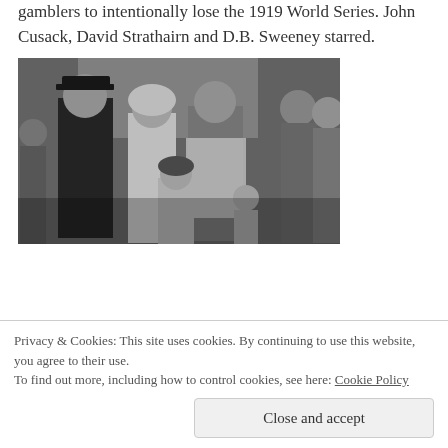gamblers to intentionally lose the 1919 World Series. John Cusack, David Strathairn and D.B. Sweeney starred.
[Figure (photo): Black and white film still showing a group of people including a man in a uniform cap, women in headscarves, and children]
Privacy & Cookies: This site uses cookies. By continuing to use this website, you agree to their use.
To find out more, including how to control cookies, see here: Cookie Policy
Close and accept